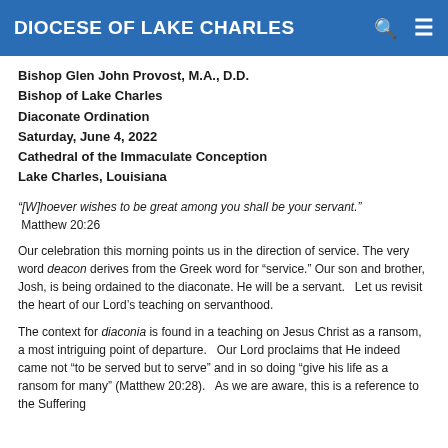DIOCESE OF LAKE CHARLES
Bishop Glen John Provost, M.A., D.D.
Bishop of Lake Charles
Diaconate Ordination
Saturday, June 4, 2022
Cathedral of the Immaculate Conception
Lake Charles, Louisiana
“[W]hoever wishes to be great among you shall be your servant.” Matthew 20:26
Our celebration this morning points us in the direction of service. The very word deacon derives from the Greek word for “service.” Our son and brother, Josh, is being ordained to the diaconate. He will be a servant.   Let us revisit the heart of our Lord’s teaching on servanthood.
The context for diaconia is found in a teaching on Jesus Christ as a ransom, a most intriguing point of departure.   Our Lord proclaims that He indeed came not “to be served but to serve” and in so doing “give his life as a ransom for many” (Matthew 20:28).   As we are aware, this is a reference to the Suffering